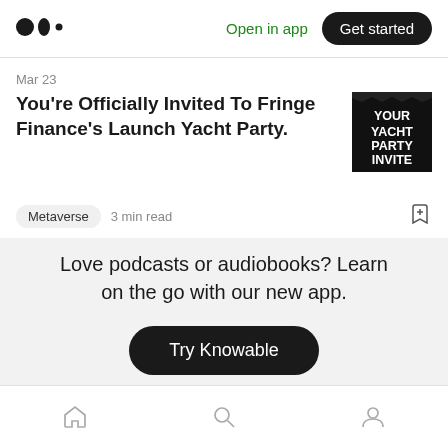Medium logo | Open in app | Get started
Mar 23
You're Officially Invited To Fringe Finance's Launch Yacht Party.
[Figure (illustration): Black square thumbnail with white bold text reading YOUR YACHT PARTY INVITE]
Metaverse  3 min read
Love podcasts or audiobooks? Learn on the go with our new app.
Try Knowable
Home | Search | Profile